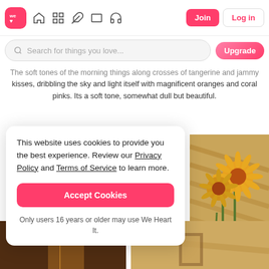[Figure (screenshot): We Heart It website navigation bar with logo, icons, Join and Log in buttons]
[Figure (screenshot): Search bar with placeholder 'Search for things you love...' and Upgrade button]
kisses, dribbling the sky and light itself with magnificent oranges and coral pinks. Its a soft tone, somewhat dull but beautiful.
This website uses cookies to provide you the best experience. Review our Privacy Policy and Terms of Service to learn more.
Accept Cookies
Only users 16 years or older may use We Heart It.
[Figure (photo): Close-up photo of orange/yellow flowers (sunflowers or gerberas) with warm light and shadows]
[Figure (photo): Dark warm-toned interior/room photo (bottom left)]
[Figure (photo): Warm golden-toned interior photo (bottom right)]